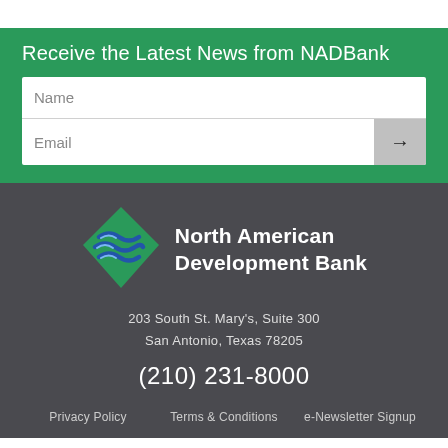Receive the Latest News from NADBank
[Figure (logo): North American Development Bank diamond-shaped logo with blue wave lines on green background]
North American Development Bank
203 South St. Mary's, Suite 300
San Antonio, Texas 78205
(210) 231-8000
Privacy Policy    Terms & Conditions    e-Newsletter Signup